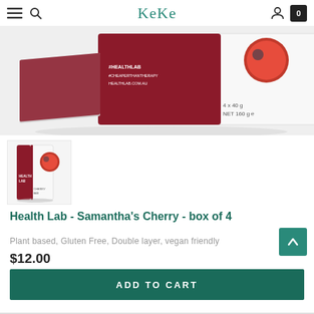KeKe
[Figure (photo): Product photo of Health Lab Samantha's Cherry chocolate bar box, showing the top and side of the white and dark red/maroon box with cherry imagery, text '#HEALTHLAB #CHEAPERTHANTHERAPY HEALTHLAB.COM.AU', '4 x 40 g NET 160 g', on a light grey background.]
[Figure (photo): Thumbnail of the same Health Lab Samantha's Cherry chocolate bar box product standing upright, showing the front of the box with cherries imagery and red/maroon branding.]
Health Lab - Samantha’s Cherry - box of 4
Plant based, Gluten Free, Double layer, vegan friendly
$12.00
ADD TO CART